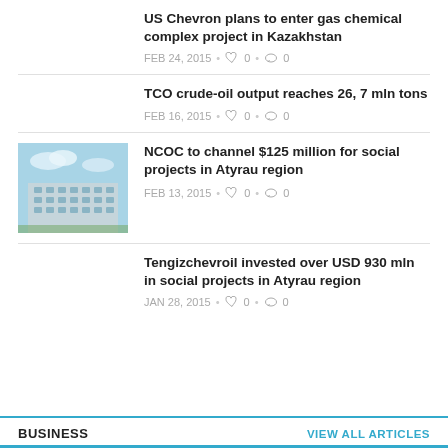US Chevron plans to enter gas chemical complex project in Kazakhstan
FEB 24, 2015 • ♡ 0 • ○ 0
TCO crude-oil output reaches 26, 7 mln tons
FEB 16, 2015 • ♡ 0 • ○ 0
[Figure (photo): Building with blue sky, residential block]
NCOC to channel $125 million for social projects in Atyrau region
FEB 13, 2015 • ♡ 0 • ○ 0
Tengizchevroil invested over USD 930 mln in social projects in Atyrau region
JAN 28, 2015 • ♡ 0 • ○ 0
BUSINESS
VIEW ALL ARTICLES